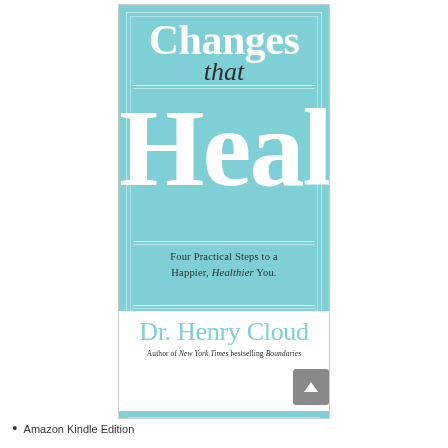[Figure (illustration): Book cover for 'Changes that Heal' by Dr. Henry Cloud. Teal/aqua background with large white serif text showing 'Changes' (partially cropped at top), italic dark 'that', large bold white 'Heal', subtitle 'Four Practical Steps to a Happier, Healthier You.' in dark text, author name 'Dr. Henry Cloud' in teal on white band, and byline 'Author of New York Times bestselling Boundaries'.]
Amazon Kindle Edition